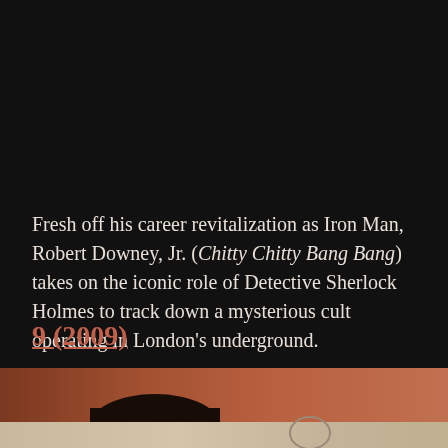Fresh off his career revitalization as Iron Man, Robert Downey, Jr. (Chitty Chitty Bang Bang) takes on the iconic role of Detective Sherlock Holmes to track down a mysterious cult operating in London's underground.
9 (2009)
[Figure (photo): A photograph showing a character with dark hair and reddish-brown and peach tones, consistent with an animated or live-action film scene.]